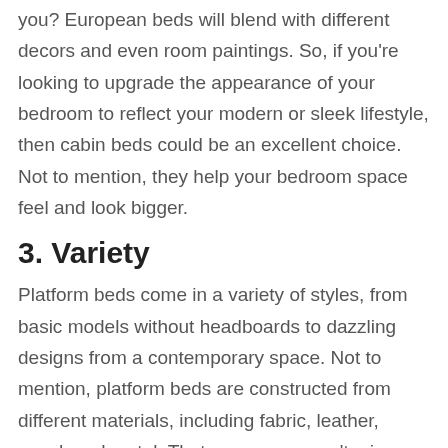you? European beds will blend with different decors and even room paintings. So, if you're looking to upgrade the appearance of your bedroom to reflect your modern or sleek lifestyle, then cabin beds could be an excellent choice. Not to mention, they help your bedroom space feel and look bigger.
3. Variety
Platform beds come in a variety of styles, from basic models without headboards to dazzling designs from a contemporary space. Not to mention, platform beds are constructed from different materials, including fabric, leather, wood, and metal. That means you can't miss finding a style that blends with your décor. European beds don't narrow your choice to one or two finishes or designs.
4. Mattress Protection & Support
When you've spent your hard-earned money to get a new mattress, you'll want to make sure that you have...